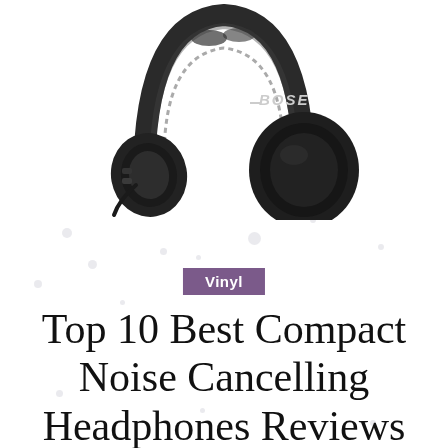[Figure (photo): Bose noise cancelling headphones, dark gray/black color, shown at an angle with the Bose logo visible on the ear cup, against a white background.]
Vinyl
Top 10 Best Compact Noise Cancelling Headphones Reviews